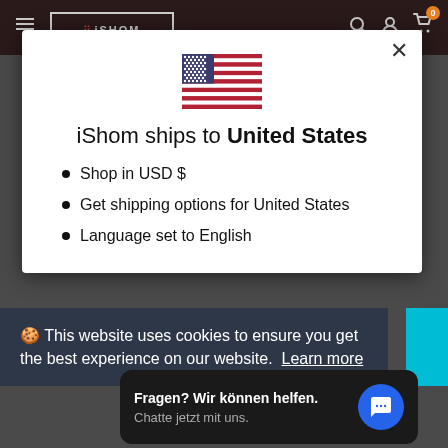[Figure (screenshot): iShom e-commerce website header with logo, hamburger menu, search, user, and cart icons on dark background]
[Figure (illustration): United States flag emoji/icon centered in modal]
iShom ships to United States
Shop in USD $
Get shipping options for United States
Language set to English
🍪 This website uses cookies to ensure you get the best experience on our website. Learn more
Fragen? Wir können helfen. Chatte jetzt mit uns.